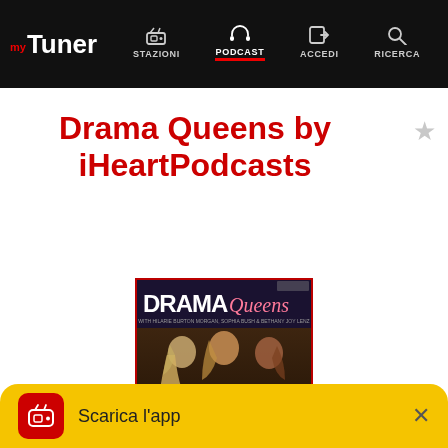myTuner — STAZIONI | PODCAST | ACCEDI | RICERCA
Drama Queens by iHeartPodcasts
[Figure (photo): Drama Queens podcast cover art showing two or three women with the text DRAMA Queens, subtitle with host names, and 'ALWAYS AND FOREVER' at bottom with WB logo]
Scarica l'app